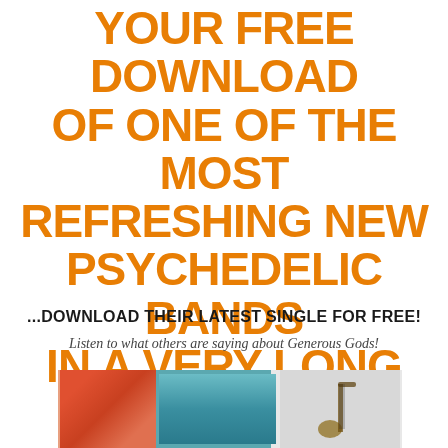YOUR FREE DOWNLOAD OF ONE OF THE MOST REFRESHING NEW PSYCHEDELIC BANDS IN A VERY LONG TIME..."
...DOWNLOAD THEIR LATEST SINGLE FOR FREE!
Listen to what others are saying about Generous Gods!
[Figure (photo): Bottom portion of a photo showing three items side by side: a colorful abstract/artistic image on the left with red and orange tones, a teal/turquoise rectangular panel in the center, and a guitar or instrument silhouette on the right against a light grey background.]